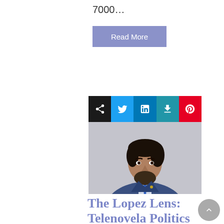7000...
Read More
[Figure (photo): Social media sharing icons bar (share, Twitter, LinkedIn, download, Pinterest) above a portrait photo of a man with dark wavy hair, beard, wearing a blue suit and blue tie against a light gray background.]
The Lopez Lens: Telenovela Politics